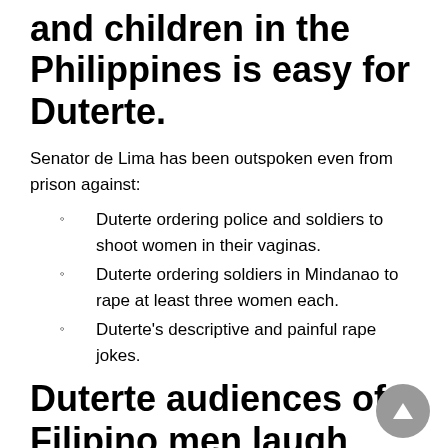and children in the Philippines is easy for Duterte.
Senator de Lima has been outspoken even from prison against:
Duterte ordering police and soldiers to shoot women in their vaginas.
Duterte ordering soldiers in Mindanao to rape at least three women each.
Duterte's descriptive and painful rape jokes.
Duterte audiences of Filipino men laugh themselves into stitches.
Men have felt threatened by women in the Philippines for